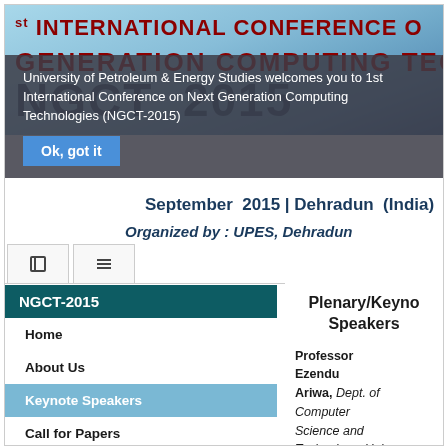[Figure (screenshot): Banner header for NGCT-2015 conference website showing '1st INTERNATIONAL CONFERENCE ON NEXT GENERATION COMPUTING TECHNOLOGIES' with blue geometric background, 'NGCT 2015' large text, 'September 2015 | Dehradun (India)' and 'Organized by: UPES, Dehradun']
University of Petroleum & Energy Studies welcomes you to 1st International Conference on Next Generation Computing Technologies (NGCT-2015)
Ok, got it
NGCT-2015
Home
About Us
Keynote Speakers
Call for Papers
Registration(New)
Important Dates
Conference Committee
Steering Committee
International Advisory Committee
Plenary/Keynote Speakers
Professor Ezendu Ariwa, Dept. of Computer Science and Technology, University of Bedfordshire,